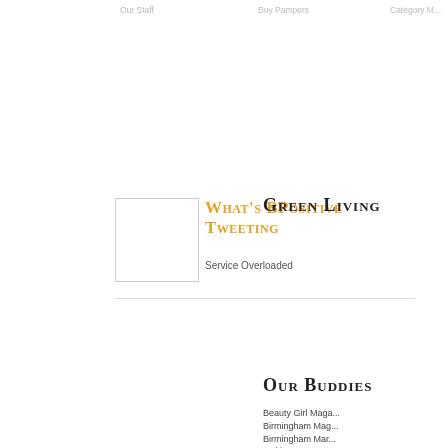Our Staff   Buy Pampers   Category Map
[Figure (other): Thumbnail placeholder image (white square with gray border)]
What's BPositive Tweeting
Service Overloaded
Green Living
[Figure (illustration): No plastic bottle icon: a blue water bottle with a gray diagonal-strikethrough circle, on a green background card with header text 'G']
cost efficient.
Our Buddies
Beauty Girl Maga...
Birmingham Mag...
Birmingham Mar...
Making Moves M...